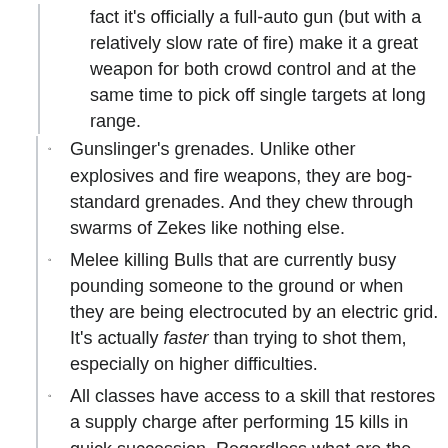fact it's officially a full-auto gun (but with a relatively slow rate of fire) make it a great weapon for both crowd control and at the same time to pick off single targets at long range.
Gunslinger's grenades. Unlike other explosives and fire weapons, they are bog-standard grenades. And they chew through swarms of Zekes like nothing else.
Melee killing Bulls that are currently busy pounding someone to the ground or when they are being electrocuted by an electric grid. It's actually faster than trying to shot them, especially on higher difficulties.
All classes have access to a skill that restores a supply charge after performing 15 kills in quick succession. Regardless what are the two alternatives to it, the reliability of this skill allows to easily recharge supplies by simply playing the game.
Bottomless Magazines:
Subverted in most cases. The players must reload